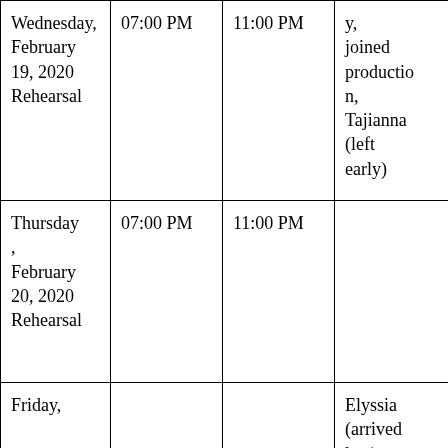| Wednesday, February 19, 2020 Rehearsal | 07:00 PM | 11:00 PM | y, joined production, Tajianna (left early) |
| Thursday, February 20, 2020 Rehearsal | 07:00 PM | 11:00 PM |  |
| Friday, |  |  | Elyssia (arrived late), Chris (left |